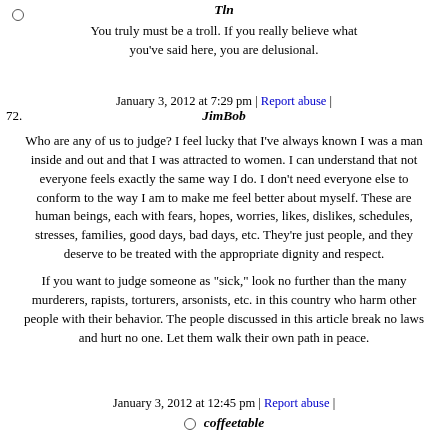You truly must be a troll. If you really believe what you've said here, you are delusional.
January 3, 2012 at 7:29 pm | Report abuse |
72. JimBob
Who are any of us to judge? I feel lucky that I've always known I was a man inside and out and that I was attracted to women. I can understand that not everyone feels exactly the same way I do. I don't need everyone else to conform to the way I am to make me feel better about myself. These are human beings, each with fears, hopes, worries, likes, dislikes, schedules, stresses, families, good days, bad days, etc. They're just people, and they deserve to be treated with the appropriate dignity and respect.
If you want to judge someone as "sick," look no further than the many murderers, rapists, torturers, arsonists, etc. in this country who harm other people with their behavior. The people discussed in this article break no laws and hurt no one. Let them walk their own path in peace.
January 3, 2012 at 12:45 pm | Report abuse |
coffeetable